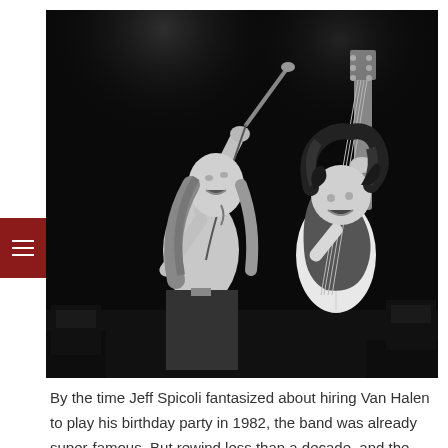[Figure (photo): Black and white concert photograph of two rock musicians performing on stage. On the left, a shirtless male singer with long hair holding a microphone dramatically tilted upward. On the right, a male guitarist with curly dark hair playing an electric guitar. Dark background consistent with a live concert setting.]
By the time Jeff Spicoli fantasized about hiring Van Halen to play his birthday party in 1982, the band was already super-famous. But rewind less than a decade, and the concept wouldn't have seemed so